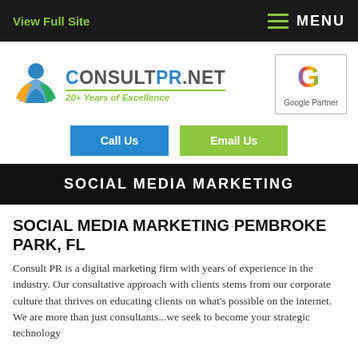View Full Site | MENU
[Figure (logo): ConsultPR.net logo with colorful figure and text '20+ Years of Excellence']
[Figure (logo): Google Partner logo with Google 'G' icon]
Call Us
Email Us
SOCIAL MEDIA MARKETING
SOCIAL MEDIA MARKETING PEMBROKE PARK, FL
Consult PR is a digital marketing firm with years of experience in the industry. Our consultative approach with clients stems from our corporate culture that thrives on educating clients on what's possible on the internet. We are more than just consultants...we seek to become your strategic technology